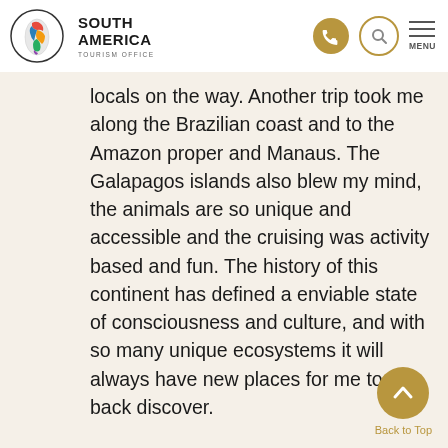[Figure (logo): South America Tourism Office logo with colorful map of South America inside circle]
SOUTH AMERICA TOURISM OFFICE
locals on the way. Another trip took me along the Brazilian coast and to the Amazon proper and Manaus. The Galapagos islands also blew my mind, the animals are so unique and accessible and the cruising was activity based and fun. The history of this continent has defined a enviable state of consciousness and culture, and with so many unique ecosystems it will always have new places for me to go back discover.
[Figure (illustration): Back to Top button - gold circle with upward chevron arrow and 'Back to Top' label below]